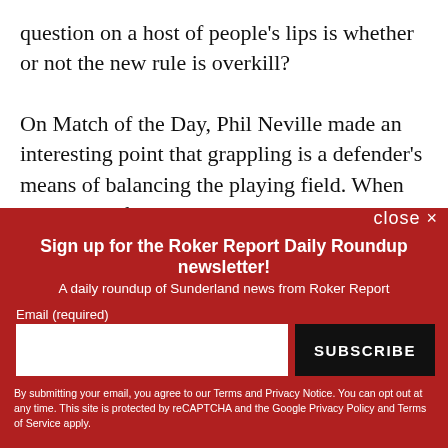question on a host of people's lips is whether or not the new rule is overkill?

On Match of the Day, Phil Neville made an interesting point that grappling is a defender's means of balancing the playing field. When trying to defend against a player coming onto the ball with momentum, Neville argued that grappling was the only means available to
close ×
Sign up for the Roker Report Daily Roundup newsletter!
A daily roundup of Sunderland news from Roker Report
Email (required)
SUBSCRIBE
By submitting your email, you agree to our Terms and Privacy Notice. You can opt out at any time. This site is protected by reCAPTCHA and the Google Privacy Policy and Terms of Service apply.